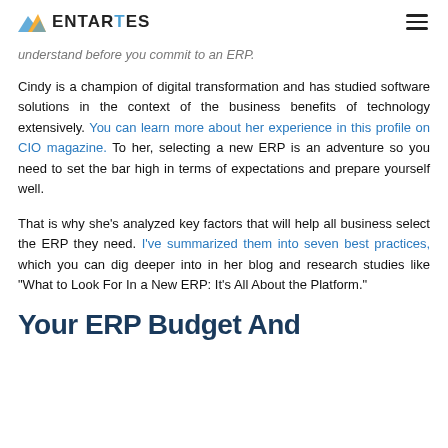ENTARTES
understand before you commit to an ERP.
Cindy is a champion of digital transformation and has studied software solutions in the context of the business benefits of technology extensively. You can learn more about her experience in this profile on CIO magazine. To her, selecting a new ERP is an adventure so you need to set the bar high in terms of expectations and prepare yourself well.
That is why she's analyzed key factors that will help all business select the ERP they need. I've summarized them into seven best practices, which you can dig deeper into in her blog and research studies like "What to Look For In a New ERP: It's All About the Platform."
Your ERP Budget And